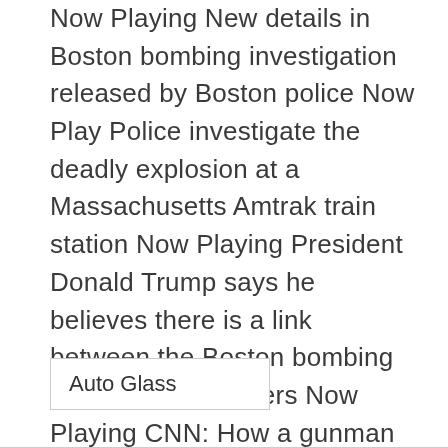Now Playing New details in Boston bombing investigation released by Boston police Now Play Police investigate the deadly explosion at a Massachusetts Amtrak train station Now Playing President Donald Trump says he believes there is a link between the Boston bombing and Russian hackers Now Playing CNN: How a gunman killed 11 people at a Florida mall Now Playing Police: Boston Marathon bomber, suspected Russian hacker killed in shootout Now Playing Boston bombing suspect killed in a standoff with police
Auto Glass